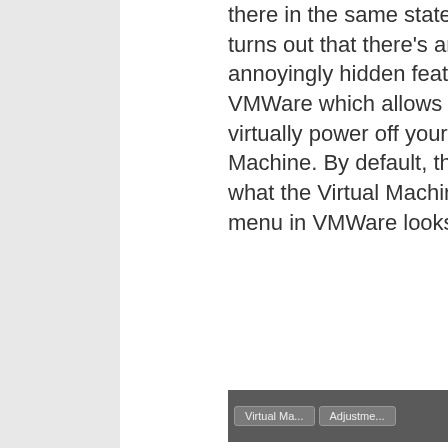there in the same state. It turns out that there's an annoyingly hidden feature of VMWare which allows you to virtually power off your Virtual Machine. By default, this is what the Virtual Machine menu in VMWare looks like:
e, if you need some development help.
[Figure (screenshot): Screenshot of VMWare Virtual Machine menu]
Ch